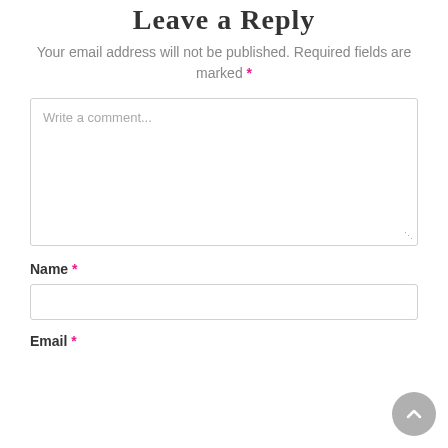Leave a Reply
Your email address will not be published. Required fields are marked *
Write a comment...
Name *
Email *